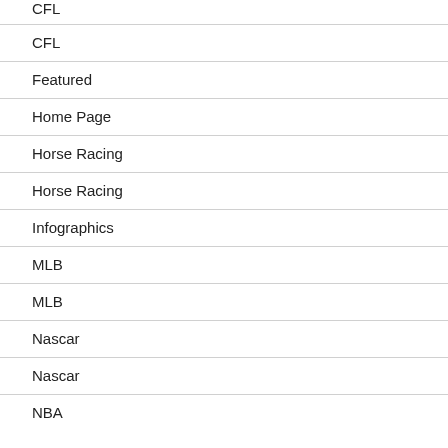CFL (partial top)
CFL
Featured
Home Page
Horse Racing
Horse Racing
Infographics
MLB
MLB
Nascar
Nascar
NBA (partial bottom)